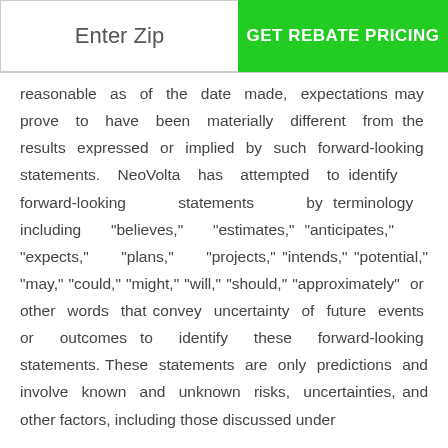Enter Zip | GET REBATE PRICING
reasonable as of the date made, expectations may prove to have been materially different from the results expressed or implied by such forward-looking statements. NeoVolta has attempted to identify forward-looking statements by terminology including "believes," "estimates," "anticipates," "expects," "plans," "projects," "intends," "potential," "may," "could," "might," "will," "should," "approximately" or other words that convey uncertainty of future events or outcomes to identify these forward-looking statements. These statements are only predictions and involve known and unknown risks, uncertainties, and other factors, including those discussed under